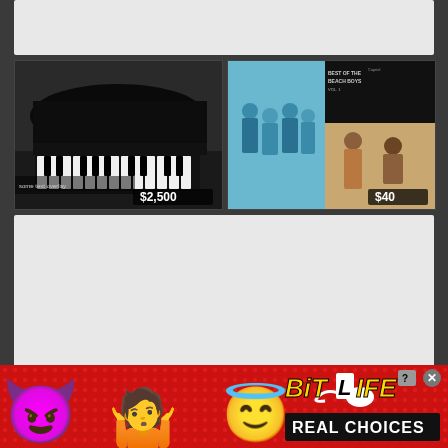[Figure (screenshot): Gray content area bar at top of page]
[Figure (photo): Listing card showing a black grand piano with price badge $2,500]
[Figure (photo): Listing card showing Beach Boys album cover with price badge $40]
[Figure (screenshot): Large gray content area below the listing cards]
[Figure (infographic): BitLife advertisement banner with devil emoji, person emoji, angel emoji, sperm icon, BitLife logo, and REAL CHOICES text on red dotted background]